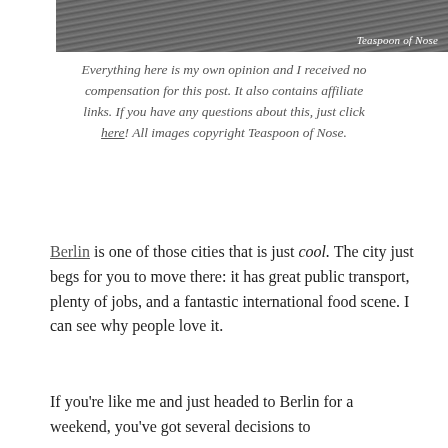[Figure (photo): Dark textured photo (top of page) with 'Teaspoon of Nose' watermark text in white italic in lower right]
Everything here is my own opinion and I received no compensation for this post. It also contains affiliate links. If you have any questions about this, just click here! All images copyright Teaspoon of Nose.
Berlin is one of those cities that is just cool. The city just begs for you to move there: it has great public transport, plenty of jobs, and a fantastic international food scene. I can see why people love it.
If you're like me and just headed to Berlin for a weekend, you've got several decisions to